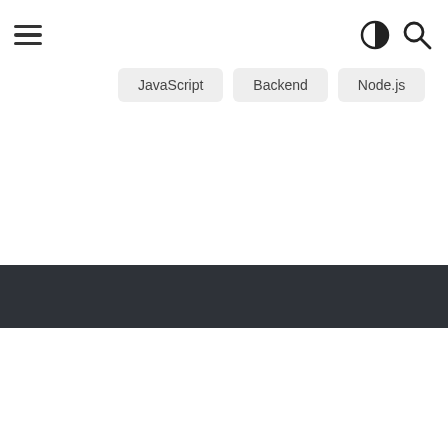[Figure (screenshot): Navigation bar with hamburger menu icon on the left and contrast/search icons on the right]
JavaScript
Backend
Node.js
[Figure (other): Dark gray horizontal banner/footer bar]